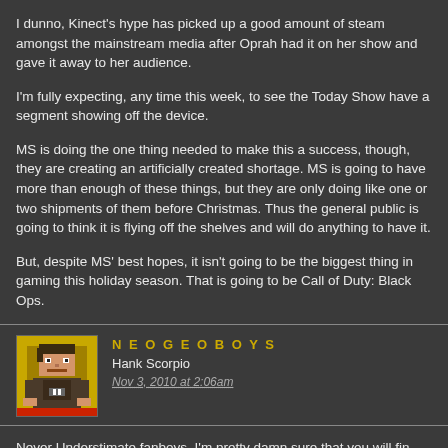I dunno, Kinect's hype has picked up a good amount of steam amongst the mainstream media after Oprah had it on her show and gave it away to her audience.
I'm fully expecting, any time this week, to see the Today Show have a segment showing off the device.
MS is doing the one thing needed to make this a success, though, they are creating an artificially created shortage. MS is going to have more than enough of these things, but they are only doing like one or two shipments of them before Christmas. Thus the general public is going to think it is flying off the shelves and will do anything to have it.
But, despite MS' best hopes, it isn't going to be the biggest thing in gaming this holiday season. That is going to be Call of Duty: Black Ops.
NEOGEOBOYS
Hank Scorpio
Nov 3, 2010 at 2:06am
Never Understimate fanboys, I'm pretty damn sure that you will fin 1.500 guys who will want to buy kinect, and going to those parties